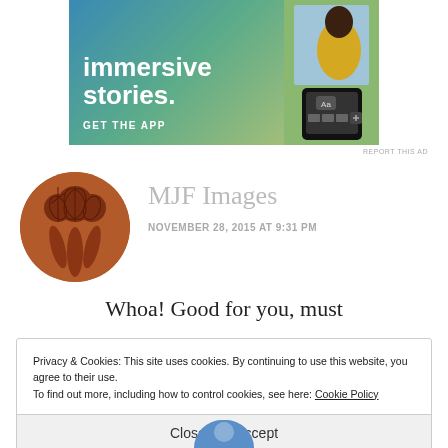[Figure (illustration): App advertisement banner with gradient blue-green-yellow background showing 'immersive stories.' text and GET THE APP call to action with a phone mockup on the right]
REPORT THIS AD
MJF Images
NOVEMBER 28, 2015 AT 9:31 PM
Whoa! Good for you, must
Privacy & Cookies: This site uses cookies. By continuing to use this website, you agree to their use.
To find out more, including how to control cookies, see here: Cookie Policy
Close and accept